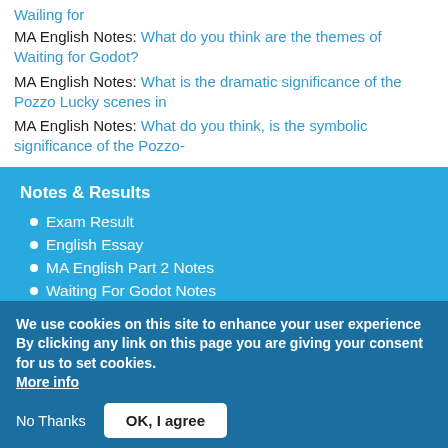Wailing for
MA English Notes: What do you think are the themes of Waiting for Godot?
MA English Notes: What is the dramatic significance of the Pozzo Lucky scenes in
MA English Notes: What do you think, is the symbolic significance of the Pozzo-
Notes & Results
Exam Result
English Essay
MA English Part 2 Notes
Waiting For Godot Notes
MA Syllabus Course Outline
We use cookies on this site to enhance your user experience
By clicking any link on this page you are giving your consent for us to set cookies.
More info
No Thanks
OK, I agree